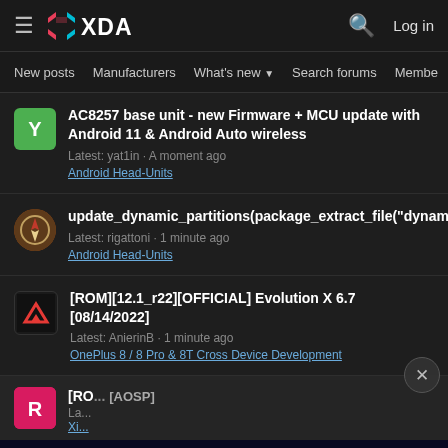XDA Developers - hamburger menu, XDA logo, search icon, Log in
New posts  Manufacturers  What's new  Search forums  Members >
AC8257 base unit - new Firmware + MCU update with Android 11 & Android Auto wireless
Latest: yat1in · A moment ago
Android Head-Units
update_dynamic_partitions(package_extract_file("dynamic_partitions_op_list"))
Latest: rigattoni · 1 minute ago
Android Head-Units
[ROM][12.1_r22][OFFICIAL] Evolution X 6.7 [08/14/2022]
Latest: AnierinB · 1 minute ago
OnePlus 8 / 8 Pro & 8T Cross Device Development
[RO... [AOSP]
Latest: ...
Xi...
[Figure (screenshot): Disney Bundle advertisement banner featuring Hulu, Disney+, and ESPN+ logos with 'GET THE DISNEY BUNDLE' call to action. Fine print: Incl. Hulu (ad-supported) or Hulu (No Ads). Access content from each service separately. ©2021 Disney and its related entities.]